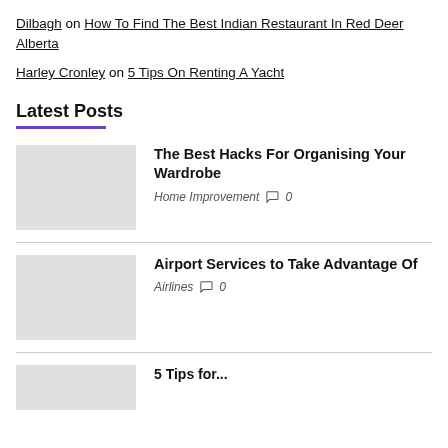Dilbagh on How To Find The Best Indian Restaurant In Red Deer Alberta
Harley Cronley on 5 Tips On Renting A Yacht
Latest Posts
The Best Hacks For Organising Your Wardrobe
Home Improvement  0
Airport Services to Take Advantage Of
Airlines  0
5 Tips for...